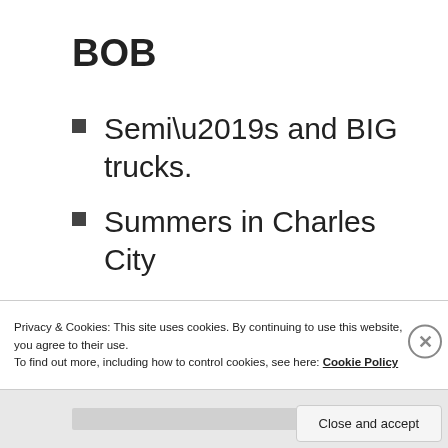BOB
Semi’s and BIG trucks.
Summers in Charles City
Screamer belly aches
Privacy & Cookies: This site uses cookies. By continuing to use this website, you agree to their use.
To find out more, including how to control cookies, see here: Cookie Policy
Close and accept